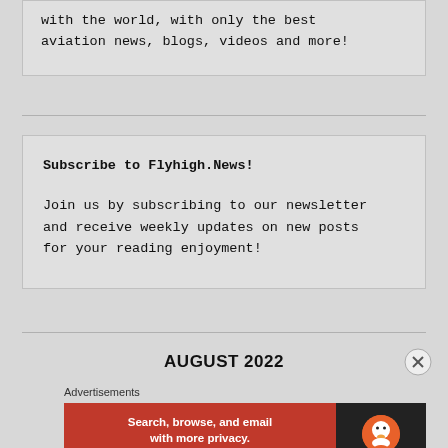with the world, with only the best aviation news, blogs, videos and more!
Subscribe to Flyhigh.News!

Join us by subscribing to our newsletter and receive weekly updates on new posts for your reading enjoyment!
AUGUST 2022
Advertisements
[Figure (other): DuckDuckGo advertisement banner: orange background on left with text 'Search, browse, and email with more privacy. All in One Free App', dark background on right with DuckDuckGo logo]